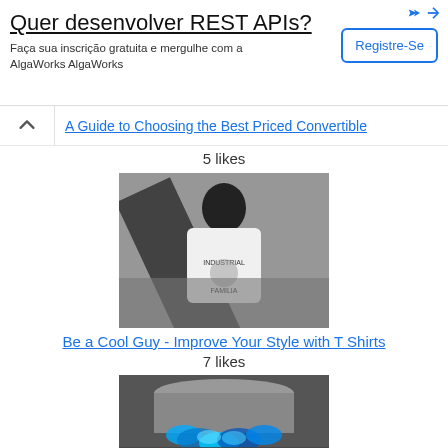[Figure (infographic): Advertisement banner: 'Quer desenvolver REST APIs?' with subtitle 'Faça sua inscrição gratuita e mergulhe com a AlgaWorks AlgaWorks' and a 'Registre-Se' button on the right.]
A Guide to Choosing the Best Priced Convertible
5 likes
[Figure (photo): Black and white photo of a person wearing a white t-shirt with 'Industrial Familia' graphic, viewed from behind, looking out over a cityscape.]
Be a Cool Guy - Improve Your Style with T Shirts
7 likes
[Figure (photo): Photo of a gas burner with blue flames on a stovetop.]